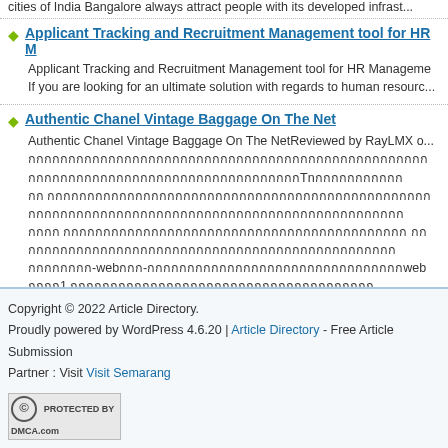cities of India Bangalore always attract people with its developed infrast...
Applicant Tracking and Recruitment Management tool for HR M...
Applicant Tracking and Recruitment Management tool for HR Manageme...
If you are looking for an ultimate solution with regards to human resourc...
Authentic Chanel Vintage Baggage On The Net
Authentic Chanel Vintage Baggage On The NetReviewed by RayLMX o...
[Thai text paragraphs]... Read more
Copyright © 2022 Article Directory.
Proudly powered by WordPress 4.6.20 | Article Directory - Free Article Submission
Partner : Visit Visit Semarang